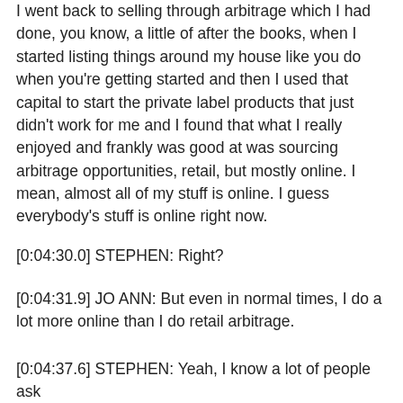I went back to selling through arbitrage which I had done, you know, a little of after the books, when I started listing things around my house like you do when you're getting started and then I used that capital to start the private label products that just didn't work for me and I found that what I really enjoyed and frankly was good at was sourcing arbitrage opportunities, retail, but mostly online. I mean, almost all of my stuff is online. I guess everybody's stuff is online right now.
[0:04:30.0] STEPHEN: Right?
[0:04:31.9] JO ANN: But even in normal times, I do a lot more online than I do retail arbitrage.
[0:04:37.6] STEPHEN: Yeah, I know a lot of people ask